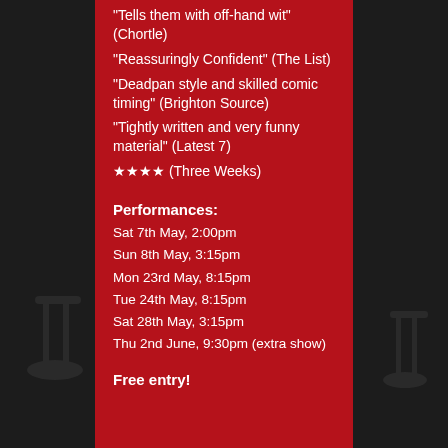"Tells them with off-hand wit" (Chortle)
"Reassuringly Confident" (The List)
"Deadpan style and skilled comic timing" (Brighton Source)
"Tightly written and very funny material" (Latest 7)
★★★★ (Three Weeks)
Performances:
Sat 7th May, 2:00pm
Sun 8th May, 3:15pm
Mon 23rd May, 8:15pm
Tue 24th May, 8:15pm
Sat 28th May, 3:15pm
Thu 2nd June, 9:30pm (extra show)
Free entry!